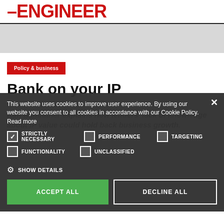–ENGINEER
Policy & business
Bank on your IP
January — 2 min read
Kan Bamfather explains how lenders' lack of knowledge about IP value could hold back business growth.
This website uses cookies to improve user experience. By using our website you consent to all cookies in accordance with our Cookie Policy. Read more
STRICTLY NECESSARY
PERFORMANCE
TARGETING
FUNCTIONALITY
UNCLASSIFIED
SHOW DETAILS
ACCEPT ALL
DECLINE ALL